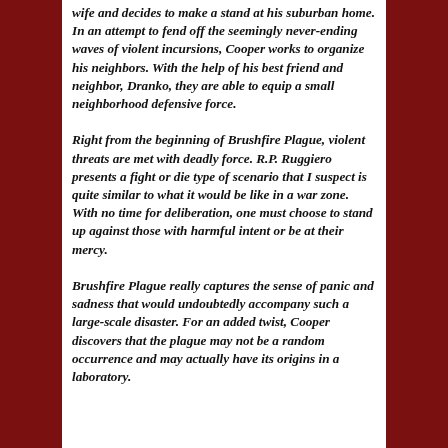wife and decides to make a stand at his suburban home. In an attempt to fend off the seemingly never-ending waves of violent incursions, Cooper works to organize his neighbors. With the help of his best friend and neighbor, Dranko, they are able to equip a small neighborhood defensive force.
Right from the beginning of Brushfire Plague, violent threats are met with deadly force. R.P. Ruggiero presents a fight or die type of scenario that I suspect is quite similar to what it would be like in a war zone. With no time for deliberation, one must choose to stand up against those with harmful intent or be at their mercy.
Brushfire Plague really captures the sense of panic and sadness that would undoubtedly accompany such a large-scale disaster. For an added twist, Cooper discovers that the plague may not be a random occurrence and may actually have its origins in a laboratory.